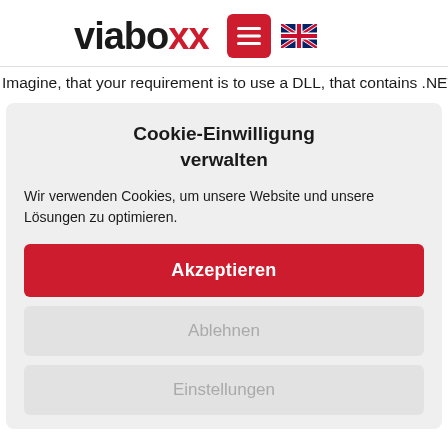viaboxx [menu] [UK flag]
Imagine, that your requirement is to use a DLL, that contains .NET
Cookie-Einwilligung verwalten
Wir verwenden Cookies, um unsere Website und unsere Lösungen zu optimieren.
Akzeptieren
Ablehnen
Einstellungen